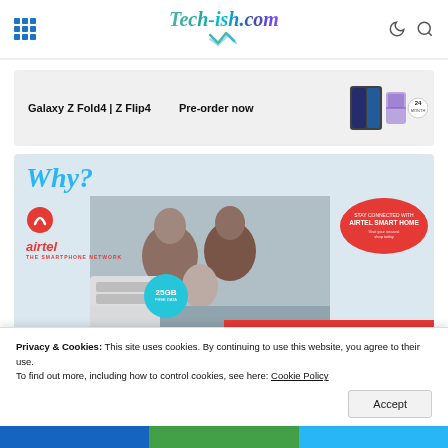Tech-ish.com
[Figure (screenshot): Samsung Galaxy Z Fold4 | Z Flip4 Pre-order now advertisement banner with phone images and 24-month warranty shield badge]
[Figure (screenshot): Airtel Smart Home advertisement with 'Why?' text, Airtel logo, family photo, 'Stay Connected with Airtel Smart Home' bubble, 25GB free data bubble, and 40GB-70GB-100GB banner]
Privacy & Cookies: This site uses cookies. By continuing to use this website, you agree to their use.
To find out more, including how to control cookies, see here: Cookie Policy
Accept